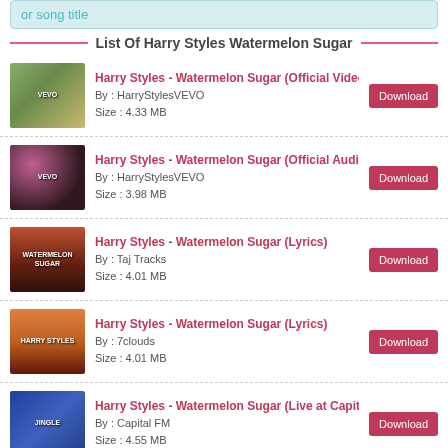or song title
List Of Harry Styles Watermelon Sugar
Harry Styles - Watermelon Sugar (Official Video)
By : HarryStylesVEVO
Size : 4.33 MB
Harry Styles - Watermelon Sugar (Official Audio)
By : HarryStylesVEVO
Size : 3.98 MB
Harry Styles - Watermelon Sugar (Lyrics)
By : Taj Tracks
Size : 4.01 MB
Harry Styles - Watermelon Sugar (Lyrics)
By : 7clouds
Size : 4.01 MB
Harry Styles - Watermelon Sugar (Live at Capital's Jingl
By : Capital FM
Size : 4.55 MB
Harry Styles - Watermelon Sugar (Lyrics)